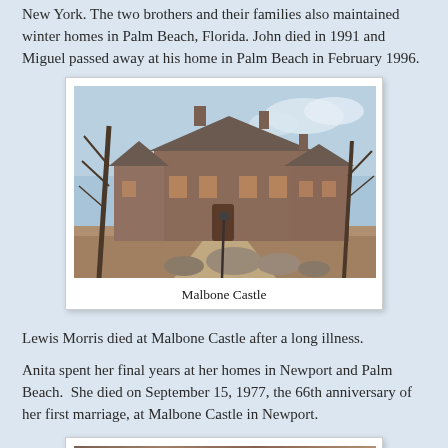New York. The two brothers and their families also maintained winter homes in Palm Beach, Florida. John died in 1991 and Miguel passed away at his home in Palm Beach in February 1996.
[Figure (photo): Photograph of Malbone Castle, a large stone mansion with bare trees in winter, viewed from the driveway with large rocks in the foreground.]
Malbone Castle
Lewis Morris died at Malbone Castle after a long illness.
Anita spent her final years at her homes in Newport and Palm Beach.  She died on September 15, 1977, the 66th anniversary of her first marriage, at Malbone Castle in Newport.
[Figure (photo): Partial photograph visible at bottom of page, appears to be another image related to the subject matter.]